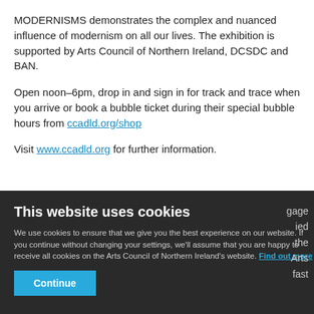MODERNISMS demonstrates the complex and nuanced influence of modernism on all our lives. The exhibition is supported by Arts Council of Northern Ireland, DCSDC and BAN.
Open noon–6pm, drop in and sign in for track and trace when you arrive or book a bubble ticket during their special bubble hours from ccadld.org/shop
Visit www.ccadld.org for further information.
This website uses cookies
We use cookies to ensure that we give you the best experience on our website. If you continue without changing your settings, we'll assume that you are happy to receive all cookies on the Arts Council of Northern Ireland's website. Find out more
Continue